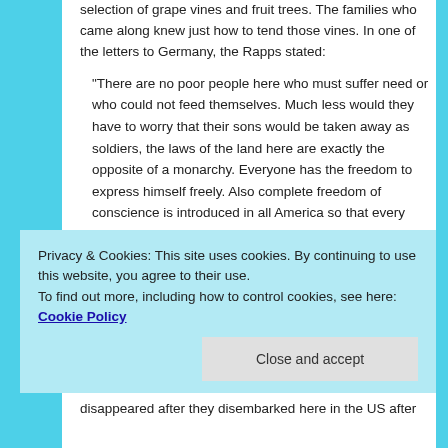selection of grape vines and fruit trees.  The families who came along knew just how to tend those vines.  In one of the letters to Germany, the Rapps stated:
“There are no poor people here who must suffer need or who could not feed themselves.  Much less would they have to worry that their sons would be taken away as soldiers, the laws of the land here are exactly the opposite of a monarchy.  Everyone has the freedom to express himself freely.  Also complete freedom of conscience is introduced in all America so that every person according to the conviction of his own conscience can perform unhindered his Divine service.”
Privacy & Cookies: This site uses cookies. By continuing to use this website, you agree to their use.
To find out more, including how to control cookies, see here: Cookie Policy
Close and accept
disappeared after they disembarked here in the US after